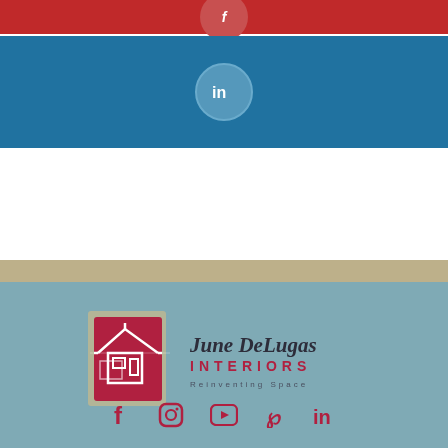[Figure (other): Red banner bar with a circular icon button at top of page]
[Figure (other): Blue banner bar with LinkedIn circular icon button]
[Figure (logo): June DeLugas Interiors logo with house icon, brand name in script, INTERIORS in red spaced caps, tagline Reinventing Space]
[Figure (other): Social media icon row: Facebook, Instagram, YouTube, Pinterest, LinkedIn icons in dark red/crimson on teal background]